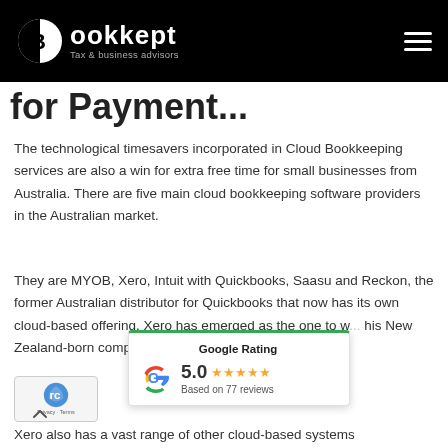Bookkept — Tax & business advisors
for Paytime...
The technological timesavers incorporated in Cloud Bookkeeping services are also a win for extra free time for small businesses from Australia. There are five main cloud bookkeeping software providers in the Australian market.
They are MYOB, Xero, Intuit with Quickbooks, Saasu and Reckon, the former Australian distributor for Quickbooks that now has its own cloud-based offering. Xero has emerged as the one to w... his New Zealand-born compa... ose to 1 million customers in a...
[Figure (other): Google Rating widget showing 5.0 stars based on 77 reviews, with a Google logo and green top border]
[Figure (other): reCAPTCHA badge with Privacy and Terms links]
Xero also has a vast range of other cloud-based systems...